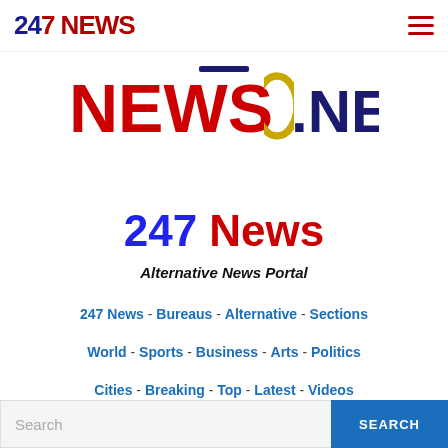247 NEWS
[Figure (logo): NEWS .NET logo with gold swoosh graphic between NEWS and .NET. NEWS in red, .NET in dark blue/navy.]
247 News
Alternative News Portal
247 News · Bureaus · Alternative · Sections
World · Sports · Business · Arts · Politics
Cities · Breaking · Top · Latest · Videos